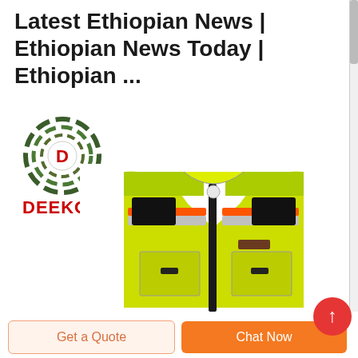Latest Ethiopian News | Ethiopian News Today | Ethiopian ...
[Figure (logo): Deekon brand logo: circular camouflage-pattern target icon with red D in center, and red bold text DEEKON below]
[Figure (photo): High-visibility safety vest in lime green/yellow color with reflective silver and orange stripes, black zipper front, multiple chest pockets, displayed on white background]
Get a Quote
Chat Now